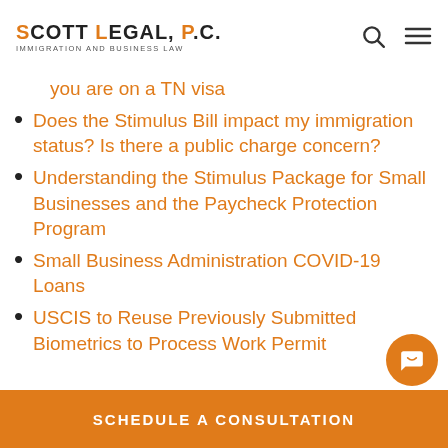SCOTT LEGAL, P.C. IMMIGRATION AND BUSINESS LAW
you are on a TN visa
Does the Stimulus Bill impact my immigration status? Is there a public charge concern?
Understanding the Stimulus Package for Small Businesses and the Paycheck Protection Program
Small Business Administration COVID-19 Loans
USCIS to Reuse Previously Submitted Biometrics to Process Work Permit
SCHEDULE A CONSULTATION